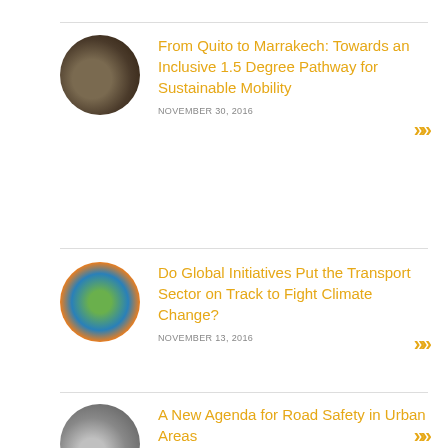From Quito to Marrakech: Towards an Inclusive 1.5 Degree Pathway for Sustainable Mobility — NOVEMBER 30, 2016
Do Global Initiatives Put the Transport Sector on Track to Fight Climate Change? — NOVEMBER 13, 2016
A New Agenda for Road Safety in Urban Areas — OCTOBER 28, 2016